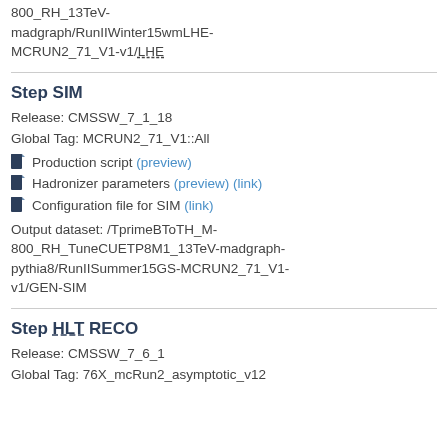800_RH_13TeV-madgraph/RunIIWinter15wmLHE-MCRUN2_71_V1-v1/LHE
Step SIM
Release: CMSSW_7_1_18
Global Tag: MCRUN2_71_V1::All
Production script (preview)
Hadronizer parameters (preview) (link)
Configuration file for SIM (link)
Output dataset: /TprimeBToTH_M-800_RH_TuneCUETP8M1_13TeV-madgraph-pythia8/RunIISummer15GS-MCRUN2_71_V1-v1/GEN-SIM
Step HLT RECO
Release: CMSSW_7_6_1
Global Tag: 76X_mcRun2_asymptotic_v12